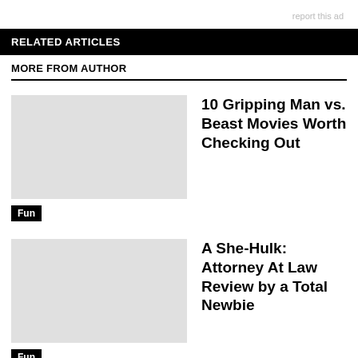report this ad
RELATED ARTICLES
MORE FROM AUTHOR
10 Gripping Man vs. Beast Movies Worth Checking Out
Fun
A She-Hulk: Attorney At Law Review by a Total Newbie
Fun